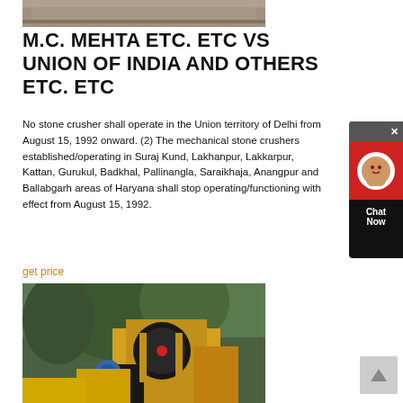[Figure (photo): Top portion of a photo showing what appears to be logs or industrial materials in an outdoor setting]
M.C. MEHTA ETC. ETC VS UNION OF INDIA AND OTHERS ETC. ETC
No stone crusher shall operate in the Union territory of Delhi from August 15, 1992 onward. (2) The mechanical stone crushers established/operating in Suraj Kund, Lakhanpur, Lakkarpur, Kattan, Gurukul, Badkhal, Pallinangla, Saraikhaja, Anangpur and Ballabgarh areas of Haryana shall stop operating/functioning with effect from August 15, 1992.
get price
[Figure (photo): Photo of a mechanical stone crusher machine with industrial equipment including a large flywheel, motor, and crusher body, set against a green mountainous background]